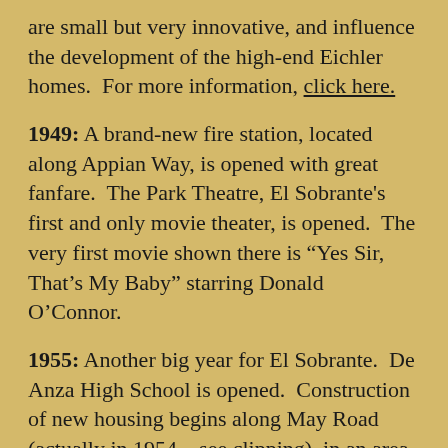are small but very innovative, and influence the development of the high-end Eichler homes.  For more information, click here.
1949: A brand-new fire station, located along Appian Way, is opened with great fanfare.  The Park Theatre, El Sobrante's first and only movie theater, is opened.  The very first movie shown there is "Yes Sir, That's My Baby" starring Donald O'Connor.
1955: Another big year for El Sobrante.  De Anza High School is opened.  Construction of new housing begins along May Road (actually in 1954 - see clipping), in an area which has just been annexed to Richmond.  Residents begin moving into the newly completed Sherwood Forest subdivision.  The first report on the feasibility of El Sobrante incorporation...